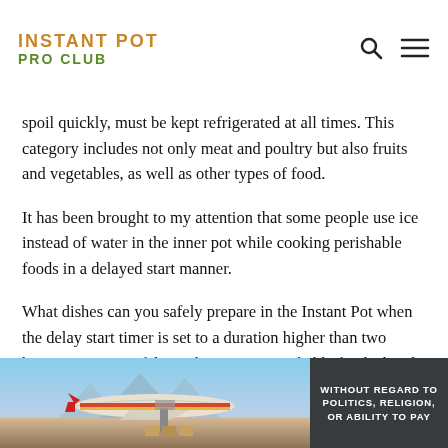INSTANT POT PRO CLUB
spoil quickly, must be kept refrigerated at all times. This category includes not only meat and poultry but also fruits and vegetables, as well as other types of food.
It has been brought to my attention that some people use ice instead of water in the inner pot while cooking perishable foods in a delayed start manner.
What dishes can you safely prepare in the Instant Pot when the delay start timer is set to a duration higher than two hours? You can safely cook any non-perishable foods that do not require refrigeration if you follow this procedure.
[Figure (photo): Advertisement banner showing an airplane being loaded with cargo, with a dark overlay on the right side reading 'WITHOUT REGARD TO POLITICS, RELIGION, OR ABILITY TO PAY']